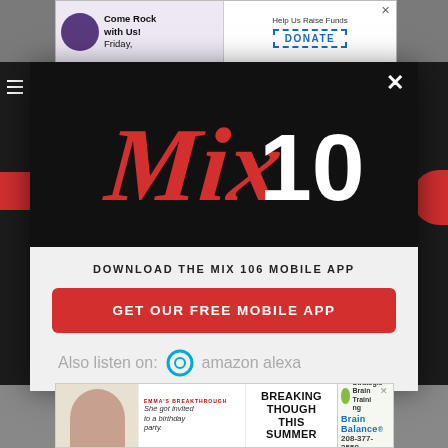[Figure (screenshot): Top banner advertisement with 'Come Rock with Us! Friday.' on left and 'Help Us Raise Funds DONATE' on right]
[Figure (logo): Mix 106 radio station logo in red and white on black background]
DOWNLOAD THE MIX 106 MOBILE APP
GET OUR FREE MOBILE APP
Also listen on: amazon alexa
[Figure (screenshot): Bottom banner advertisement: Brain Balance 'Breaking Though This Summer' with Strategic Brain Training, 208-377-3559]